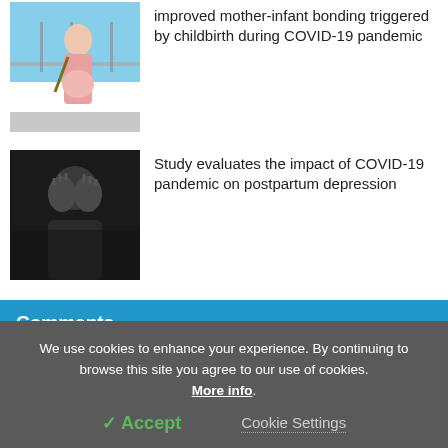[Figure (photo): Photo of pregnant woman in pink coat standing outdoors]
improved mother-infant bonding triggered by childbirth during COVID-19 pandemic
[Figure (photo): Black and white photo of person covering face with hands, depicting depression]
Study evaluates the impact of COVID-19 pandemic on postpartum depression
Comments
(partial obscured text row below comments bar)
We use cookies to enhance your experience. By continuing to browse this site you agree to our use of cookies. More info.
✓ Accept  Cookie Settings